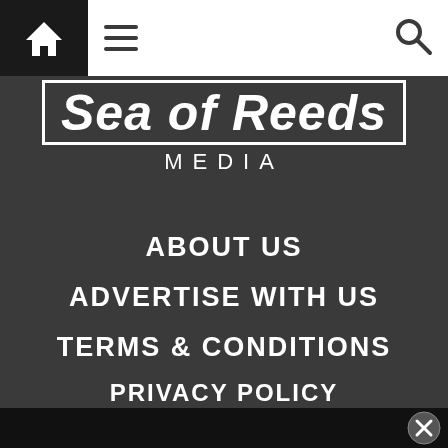[Figure (screenshot): Website navigation bar with home icon (black background), hamburger menu icon, and search icon]
Sea of Reeds MEDIA
ABOUT US
ADVERTISE WITH US
TERMS & CONDITIONS
PRIVACY POLICY
CHECK US OUT: